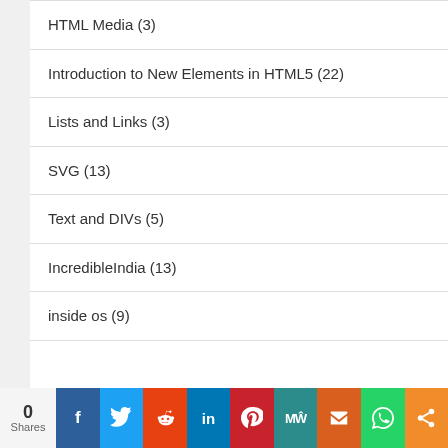HTML Media (3)
Introduction to New Elements in HTML5 (22)
Lists and Links (3)
SVG (13)
Text and DIVs (5)
IncredibleIndia (13)
inside os (9)
0 Shares | Facebook | Twitter | Reddit | LinkedIn | Pinterest | MeWe | Mix | WhatsApp | Share